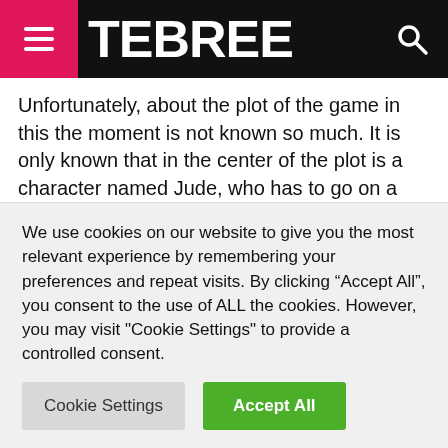TEBREE
Unfortunately, about the plot of the game in this the moment is not known so much. It is only known that in the center of the plot is a character named Jude, who has to go on a long and dangerous journey through an eerie world overflowing with enemies and ill-wishers. Well, you have to accompany him on this difficult journey.
It may seem that Jude is a typical metroidvania-style platformer, but in reality this is not at all the case. This game...
We use cookies on our website to give you the most relevant experience by remembering your preferences and repeat visits. By clicking “Accept All”, you consent to the use of ALL the cookies. However, you may visit "Cookie Settings" to provide a controlled consent.